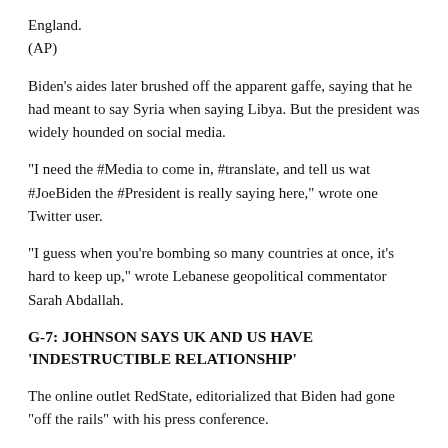England.
(AP)
Biden's aides later brushed off the apparent gaffe, saying that he had meant to say Syria when saying Libya. But the president was widely hounded on social media.
"I need the #Media to come in, #translate, and tell us wat #JoeBiden the #President is really saying here," wrote one Twitter user.
"I guess when you're bombing so many countries at once, it's hard to keep up," wrote Lebanese geopolitical commentator Sarah Abdallah.
G-7: JOHNSON SAYS UK AND US HAVE 'INDESTRUCTIBLE RELATIONSHIP'
The online outlet RedState, editorialized that Biden had gone "off the rails" with his press conference.
The mix-up came on the last day of the annual G-7 summit in Cornwall, in the southwest of England.
Biden later traveled to Windsor Castle for a private audience with the